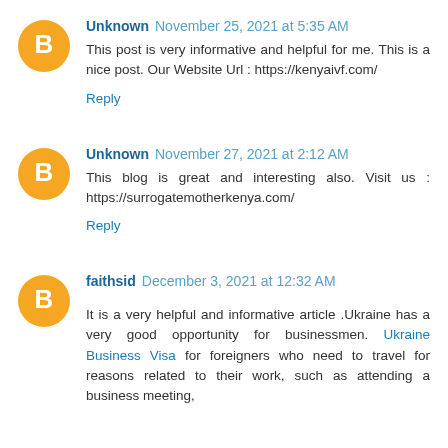Unknown November 25, 2021 at 5:35 AM
This post is very informative and helpful for me. This is a nice post. Our Website Url : https://kenyaivf.com/
Reply
Unknown November 27, 2021 at 2:12 AM
This blog is great and interesting also. Visit us : https://surrogatemotherkenya.com/
Reply
faithsid December 3, 2021 at 12:32 AM
It is a very helpful and informative article .Ukraine has a very good opportunity for businessmen. Ukraine Business Visa for foreigners who need to travel for reasons related to their work, such as attending a business meeting,